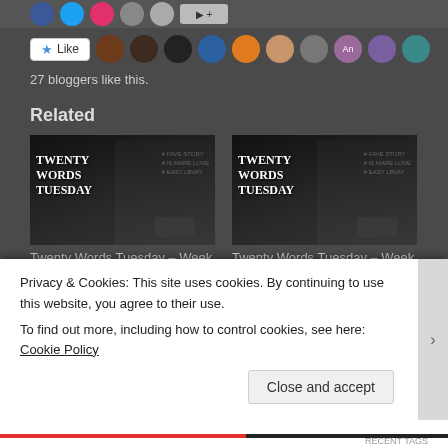[Figure (screenshot): Social media share buttons strip at top (Facebook blue, Twitter teal, Pinterest red, email gray, more options gray, Share button)]
[Figure (screenshot): Like button with star icon followed by row of blogger avatar profile pictures]
27 bloggers like this.
Related
[Figure (photo): Twenty Words Tuesday blog post image showing typewriter with text TWENTY WORDS TUESDAY overlaid]
Twenty Words Tuesday – Week 45
[Figure (photo): Twenty Words Tuesday blog post image showing typewriter with text TWENTY WORDS TUESDAY overlaid]
Twenty Words Tuesday – Week 30
Privacy & Cookies: This site uses cookies. By continuing to use this website, you agree to their use.
To find out more, including how to control cookies, see here: Cookie Policy
Close and accept